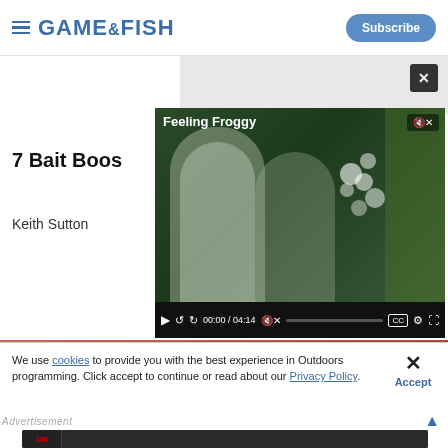GAME&FISH — Subscribe
[Figure (screenshot): Video player overlay showing 'Feeling Froggy' video with two men fishing, time 00:00 / 04:14, muted, with CC and settings controls]
7 Bait Boos
Keith Sutton
[Figure (photo): Salmon/pink colored strip background]
We use cookies to provide you with the best experience in Outdoors programming. Click accept to continue or read about our Privacy Policy.
Advertisement
[Figure (photo): Federal 100 advertisement banner with black and white photos of people]